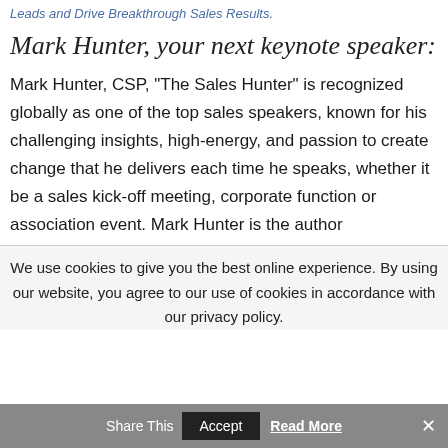Leads and Drive Breakthrough Sales Results.
Mark Hunter, your next keynote speaker:
Mark Hunter, CSP, “The Sales Hunter” is recognized globally as one of the top sales speakers, known for his challenging insights, high-energy, and passion to create change that he delivers each time he speaks, whether it be a sales kick-off meeting, corporate function or association event. Mark Hunter is the author
We use cookies to give you the best online experience. By using our website, you agree to our use of cookies in accordance with our privacy policy.
Accept  Read More
Share This  ×